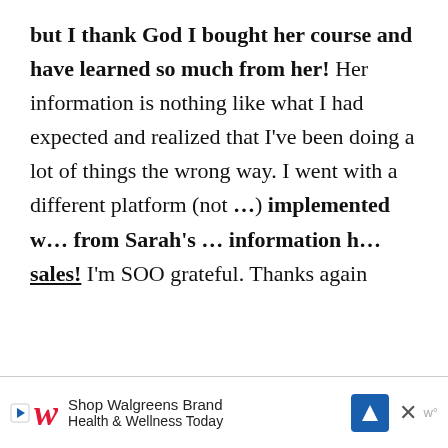but I thank God I bought her course and have learned so much from her! Her information is nothing like what I had expected and realized that I've been doing a lot of things the wrong way. I went with a different platform (not …) implemented … from Sarah's … information h… sales! I'm SOO grateful. Thanks again
[Figure (screenshot): Browser popup bar showing title 'Homeless to 7-Figures Se...' with a close X button, and below it a video thumbnail with purple/pink gradient background showing 'One Source' and 'HAD IT ALL!!!' text]
[Figure (screenshot): Walgreens advertisement bar at bottom: 'Shop Walgreens Brand Health & Wellness Today' with Walgreens logo, navigation arrow icon, and close X button]